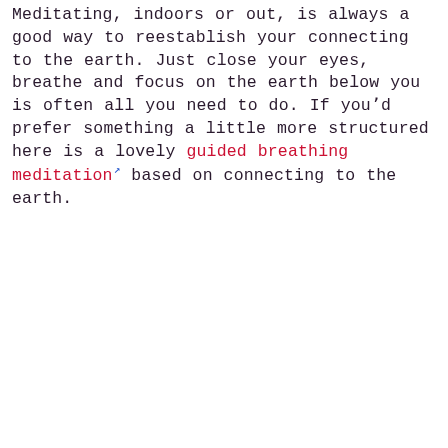Meditating, indoors or out, is always a good way to reestablish your connecting to the earth. Just close your eyes, breathe and focus on the earth below you is often all you need to do. If you'd prefer something a little more structured here is a lovely guided breathing meditation based on connecting to the earth.